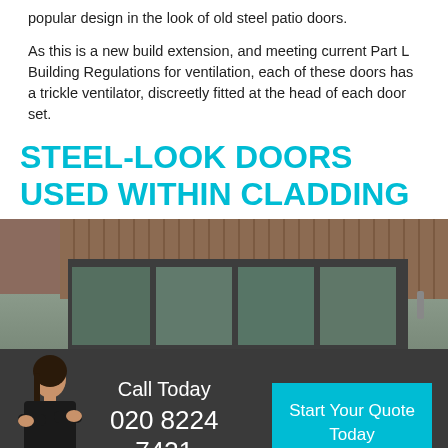popular design in the look of old steel patio doors.
As this is a new build extension, and meeting current Part L Building Regulations for ventilation, each of these doors has a trickle ventilator, discreetly fitted at the head of each door set.
STEEL-LOOK DOORS USED WITHIN CLADDING
[Figure (photo): Exterior photo of a building with vertical dark wood cladding and steel-look sliding patio doors with dark frames, reflecting outdoor scenery. A woman in a black business suit stands at the lower left of the image.]
Call Today 020 8224 7431
Start Your Quote Today